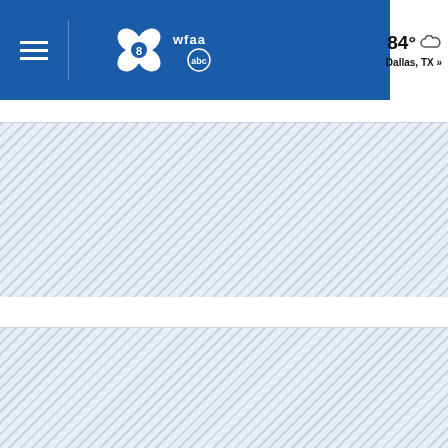WFAA ABC Dallas navigation bar with weather: 84° Dallas, TX »
[Figure (screenshot): WFAA ABC Channel 8 Dallas logo on blue navigation bar with hamburger menu, weather showing 84° and Dallas, TX, and two hatched placeholder content areas below]
84° Dallas, TX »